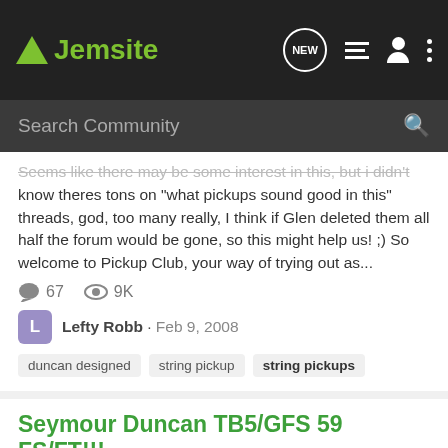Jemsite
Seems like there may be some interest in this, but i didn't know theres tons on "what pickups sound good in this" threads, god, too many really, I think if Glen deleted them all half the forum would be gone, so this might help us! ;) So welcome to Pickup Club, your way of trying out as...
67 replies  9K views
Lefty Robb · Feb 9, 2008
duncan designed
string pickup
string pickups
Seymour Duncan TB5/GFS 59 FS/FT!!!
Classified Ads: Guitars and Gear
I have a Seymour Duncan Custom TB5(bridge) and a GFS 59(neck) up for grabs folks! Mostly looking for a trade for 7 string pickups... Here's the pics : Just like my Schecter 006...